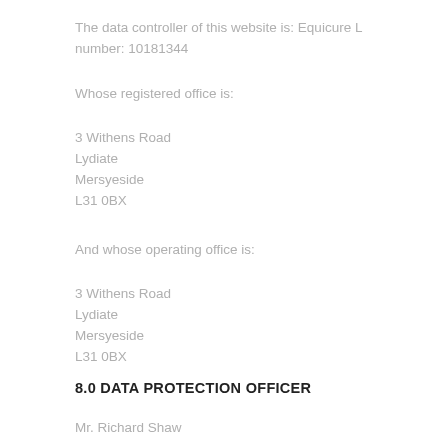The data controller of this website is: Equicure L number: 10181344
Whose registered office is:
3 Withens Road
Lydiate
Mersyeside
L31 0BX
And whose operating office is:
3 Withens Road
Lydiate
Mersyeside
L31 0BX
8.0 DATA PROTECTION OFFICER
Mr. Richard Shaw